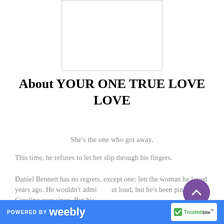[Figure (other): Book cover image placeholder — white rectangle with gray border]
About YOUR ONE TRUE LOVE LOVE
She's the one who got away.
This time, he refuses to let her slip through his fingers.
Daniel Bennett has no regrets, except one: lett the woman he loved years ago. He wouldn't adm out loud, but he's been pining for Caroline ever since. But his
POWERED BY weebly   TrustedSite